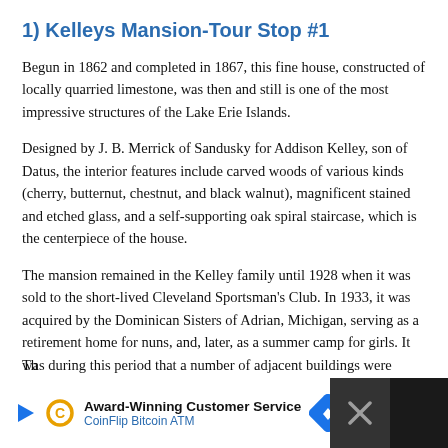1) Kelleys Mansion-Tour Stop #1
Begun in 1862 and completed in 1867, this fine house, constructed of locally quarried limestone, was then and still is one of the most impressive structures of the Lake Erie Islands.
Designed by J. B. Merrick of Sandusky for Addison Kelley, son of Datus, the interior features include carved woods of various kinds (cherry, butternut, chestnut, and black walnut), magnificent stained and etched glass, and a self-supporting oak spiral staircase, which is the centerpiece of the house.
The mansion remained in the Kelley family until 1928 when it was sold to the short-lived Cleveland Sportsman's Club. In 1933, it was acquired by the Dominican Sisters of Adrian, Michigan, serving as a retirement home for nuns, and, later, as a summer camp for girls. It was during this period that a number of adjacent buildings were constructed.
[Figure (other): Advertisement banner for CoinFlip Bitcoin ATM with play icon, C logo, arrow logo, and close X button on dark background. Text reads: Award-Winning Customer Service, CoinFlip Bitcoin ATM.]